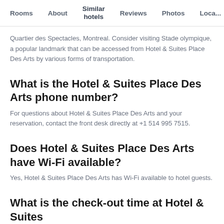Rooms  About  Similar hotels  Reviews  Photos  Loca...
Quartier des Spectacles, Montreal. Consider visiting Stade olympique, a popular landmark that can be accessed from Hotel & Suites Place Des Arts by various forms of transportation.
What is the Hotel & Suites Place Des Arts phone number?
For questions about Hotel & Suites Place Des Arts and your reservation, contact the front desk directly at +1 514 995 7515.
Does Hotel & Suites Place Des Arts have Wi-Fi available?
Yes, Hotel & Suites Place Des Arts has Wi-Fi available to hotel guests.
What is the check-out time at Hotel & Suites